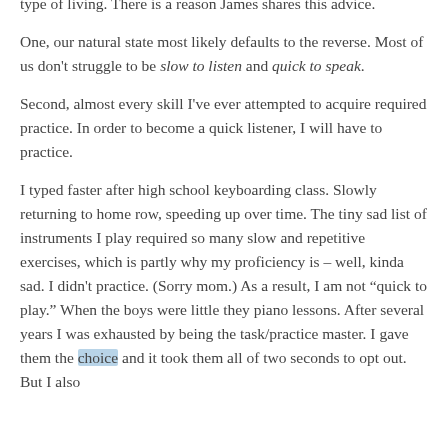type of living. There is a reason James shares this advice.
One, our natural state most likely defaults to the reverse. Most of us don't struggle to be slow to listen and quick to speak.
Second, almost every skill I've ever attempted to acquire required practice. In order to become a quick listener, I will have to practice.
I typed faster after high school keyboarding class. Slowly returning to home row, speeding up over time. The tiny sad list of instruments I play required so many slow and repetitive exercises, which is partly why my proficiency is – well, kinda sad. I didn't practice. (Sorry mom.) As a result, I am not "quick to play." When the boys were little they piano lessons. After several years I was exhausted by being the task/practice master. I gave them the choice and it took them all of two seconds to opt out. But I also